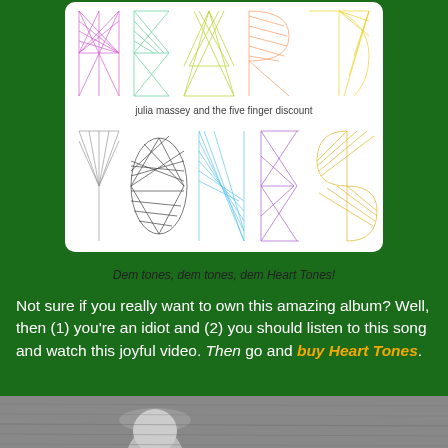[Figure (illustration): Album cover for 'Heart Tones' by Julia Massey and the Five Finger Discount. White background with colorful string-art style letters spelling 'HEART' on top row and 'TONES' on bottom row, with 'julia massey and the five finger discount' in small text in the middle.]
Dem tones, dem tones, dem Heart Tones!
Not sure if you really want to own this amazing album? Well, then (1) you're an idiot and (2) you should listen to this song and watch this joyful video. Then go and buy Heart Tones.
[Figure (photo): Bottom strip showing a person wearing a hat, partially visible at the bottom of the page.]